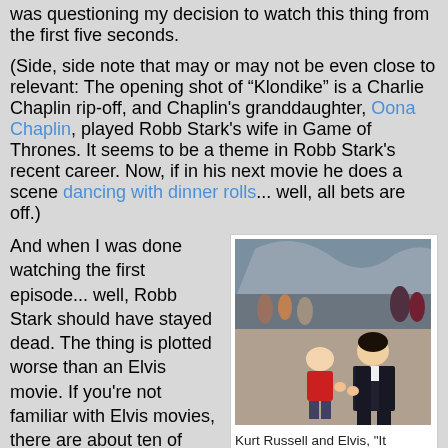was questioning my decision to watch this thing from the first five seconds.
(Side, side note that may or may not be even close to relevant: The opening shot of “Klondike” is a Charlie Chaplin rip-off, and Chaplin's granddaughter, Oona Chaplin, played Robb Stark's wife in Game of Thrones. It seems to be a theme in Robb Stark's recent career. Now, if in his next movie he does a scene dancing with dinner rolls... well, all bets are off.)
[Figure (photo): A still from 'It Happened at the World's Fair' showing Kurt Russell as a young boy and Elvis Presley in a dark suit, in an outdoor fairground setting with a crowd and structures in the background.]
Kurt Russell and Elvis, "It Happened at the World's Fair"
And when I was done watching the first episode... well, Robb Stark should have stayed dead. The thing is plotted worse than an Elvis movie. If you're not familiar with Elvis movies, there are about ten of them where Elvis is playing an upstanding young citizen of